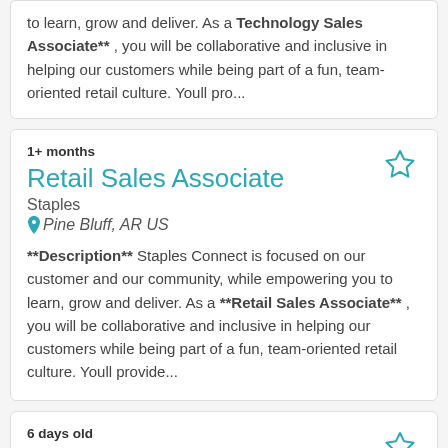to learn, grow and deliver. As a ** Technology Sales Associate** , you will be collaborative and inclusive in helping our customers while being part of a fun, team-oriented retail culture. Youll pro...
1+ months
Retail Sales Associate
Staples
Pine Bluff, AR US
**Description** Staples Connect is focused on our customer and our community, while empowering you to learn, grow and deliver. As a **Retail Sales Associate** , you will be collaborative and inclusive in helping our customers while being part of a fun, team-oriented retail culture. Youll provide...
6 days old
Retail Sales Print Supervisor
Staples
Pine Bluff, AR US